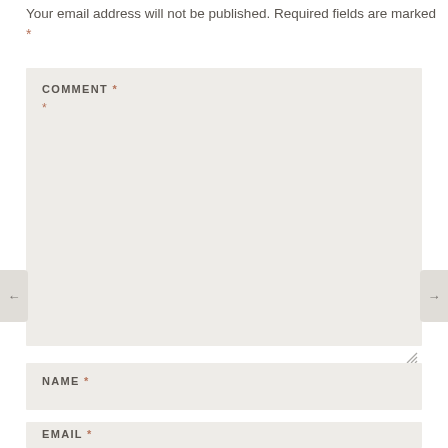Your email address will not be published. Required fields are marked *
COMMENT *
NAME *
EMAIL *